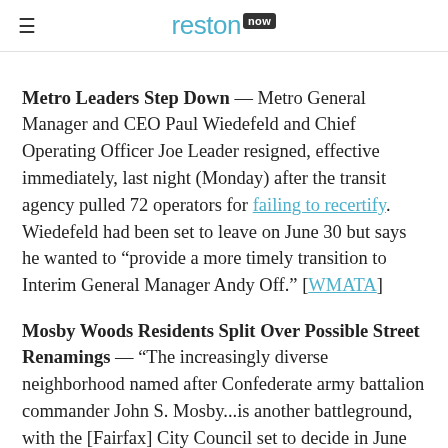reston now
Metro Leaders Step Down — Metro General Manager and CEO Paul Wiedefeld and Chief Operating Officer Joe Leader resigned, effective immediately, last night (Monday) after the transit agency pulled 72 operators for failing to recertify. Wiedefeld had been set to leave on June 30 but says he wanted to "provide a more timely transition to Interim General Manager Andy Off." [WMATA]
Mosby Woods Residents Split Over Possible Street Renamings — "The increasingly diverse neighborhood named after Confederate army battalion commander John S. Mosby...is another battleground, with the [Fairfax] City Council set to decide in June whether nine streets in Mosby Woods should be called something else." [The Washington Post]